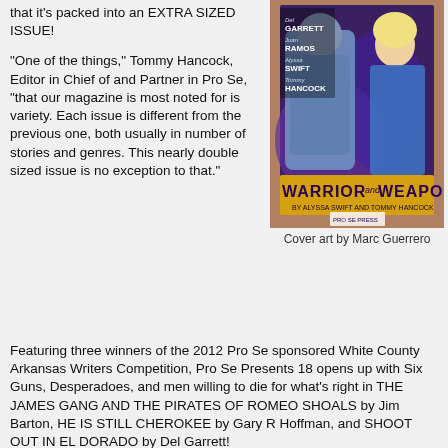that it's packed into an EXTRA SIZED ISSUE!
"One of the things," Tommy Hancock, Editor in Chief of and Partner in Pro Se, "that our magazine is most noted for is variety.  Each issue is different from the previous one, both usually in number of stories and genres.  This nearly double sized issue is no exception to that."
[Figure (illustration): Comic book cover for 'Warrior and Weapon' by Alyssa Swift and Tommy Hancock, featuring superhero characters. Credits list Del Garrett, Juan Ramos, Alyssa Swift, Tommy Hancock. Published by Pro Se Press.]
Cover art by Marc Guerrero
Featuring three winners of the 2012 Pro Se sponsored White County Arkansas Writers Competition, Pro Se Presents 18 opens up with Six Guns, Desperadoes, and men willing to die for what's right in THE JAMES GANG AND THE PIRATES OF ROMEO SHOALS by Jim Barton, HE IS STILL CHEROKEE by Gary R Hoffman, and SHOOT OUT IN EL DORADO by Del Garrett!